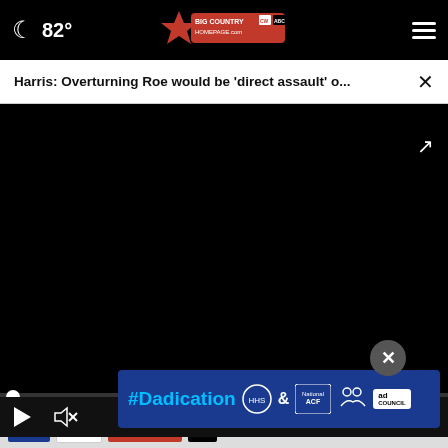82° Big Country Homepage
Harris: Overturning Roe would be 'direct assault' o...
[Figure (screenshot): Black video player area with progress bar and playback controls showing 00:00]
[Figure (logo): ReportIt logo in red italic text]
Se... pic...
[Figure (infographic): #Dadication ad banner with HHS ACF and Ad Council logos]
[Figure (logo): Station logos: KTAB, KRBC, Big Country]